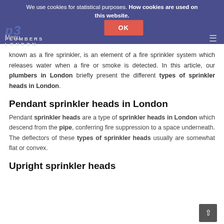We use cookies for statistical purposes. How cookies are used on this website. OK
known as a fire sprinkler, is an element of a fire sprinkler system which releases water when a fire or smoke is detected. In this article, our plumbers in London briefly present the different types of sprinkler heads in London.
Pendant sprinkler heads in London
Pendant sprinkler heads are a type of sprinkler heads in London which descend from the pipe, conferring fire suppression to a space underneath. The deflectors of these types of sprinkler heads usually are somewhat flat or convex.
Upright sprinkler heads